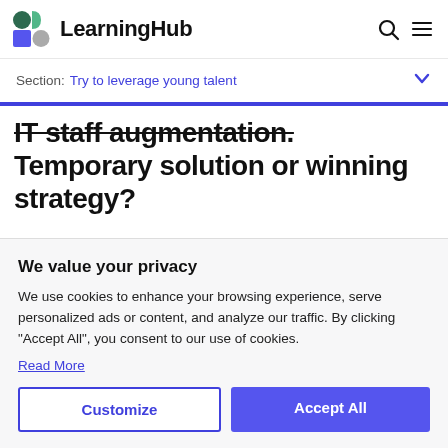LearningHub
Section: Try to leverage young talent
IT staff augmentation. Temporary solution or winning strategy?
We value your privacy
We use cookies to enhance your browsing experience, serve personalized ads or content, and analyze our traffic. By clicking "Accept All", you consent to our use of cookies.
Read More
Customize
Accept All